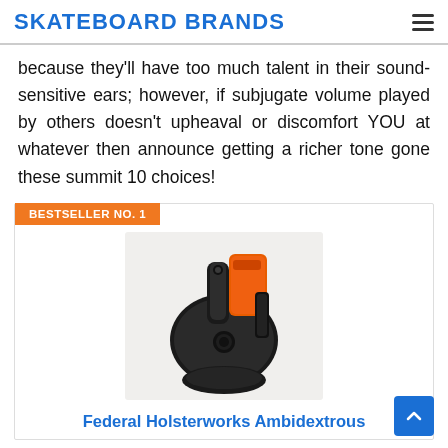SKATEBOARD BRANDS
because they'll have too much talent in their sound-sensitive ears; however, if subjugate volume played by others doesn't upheaval or discomfort YOU at whatever then announce getting a richer tone gone these summit 10 choices!
BESTSELLER NO. 1
[Figure (photo): A black gun holster with an orange handgun tucked inside, shown on a white background.]
Federal Holsterworks Ambidextrous